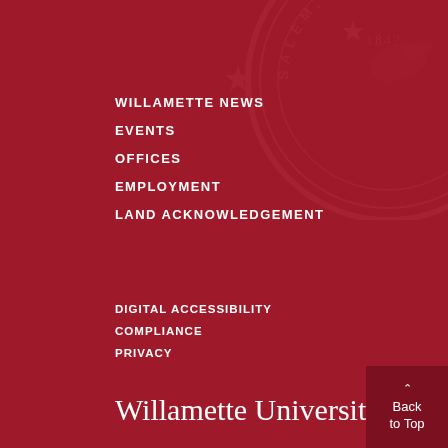[Figure (illustration): Willamette University circular seal watermark in dark red on red background, partially visible in top-right corner]
WILLAMETTE NEWS
EVENTS
OFFICES
EMPLOYMENT
LAND ACKNOWLEDGEMENT
DIGITAL ACCESSIBILITY
COMPLIANCE
PRIVACY
Willamette University
900 STATE STREET
SALEM, OREGON 97301
503-370-6300
Back to Top